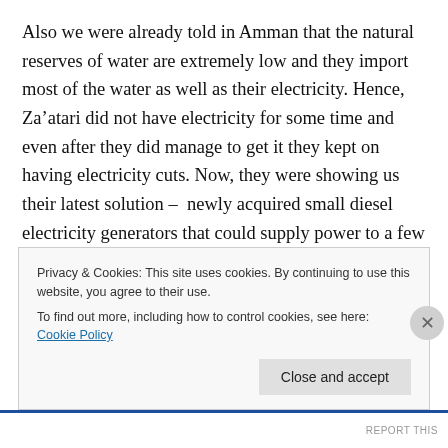Also we were already told in Amman that the natural reserves of water are extremely low and they import most of the water as well as their electricity. Hence, Za’atari did not have electricity for some time and even after they did manage to get it they kept on having electricity cuts. Now, they were showing us their latest solution –  newly acquired small diesel electricity generators that could supply power to a few trailers. In fact, after our little performance there, we took a walk in the camp and saw 3 kids aged perhaps between 9 and 12 years old taking apart one of those generators and trying to fix it
Privacy & Cookies: This site uses cookies. By continuing to use this website, you agree to their use.
To find out more, including how to control cookies, see here: Cookie Policy
Close and accept